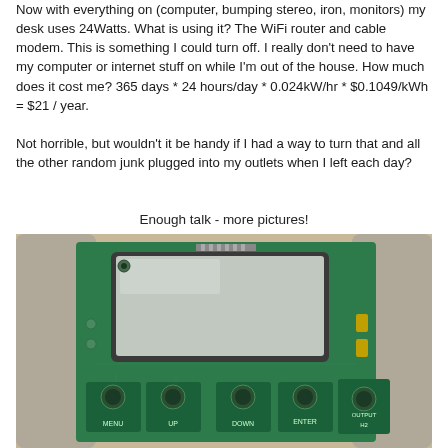Now with everything on (computer, bumping stereo, iron, monitors) my desk uses 24Watts. What is using it? The WiFi router and cable modem. This is something I could turn off. I really don't need to have my computer or internet stuff on while I'm out of the house. How much does it cost me? 365 days * 24 hours/day * 0.024kW/hr * $0.1049/kWh = $21 / year.
Not horrible, but wouldn't it be handy if I had a way to turn that and all the other random junk plugged into my outlets when I left each day?
Enough talk - more pictures!
[Figure (photo): Close-up photograph of a green circuit board with an LCD display screen and buttons labeled MENU, UP, DOWN, ENTER, OUTPUT, H2]